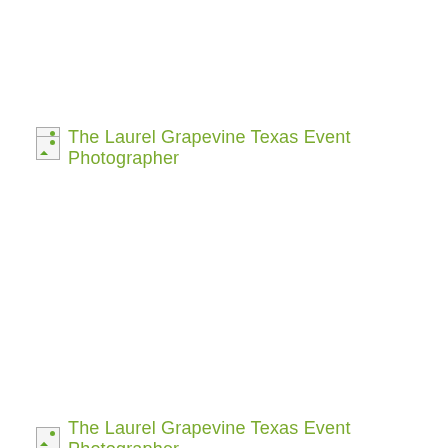[Figure (other): Broken image placeholder icon with alt text caption: The Laurel Grapevine Texas Event Photographer]
The Laurel Grapevine Texas Event Photographer
[Figure (other): Broken image placeholder icon with alt text caption: The Laurel Grapevine Texas Event Photographer (partially visible at bottom)]
The Laurel Grapevine Texas Event Photographer